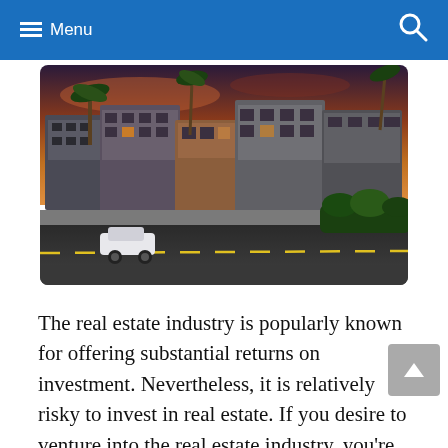Menu
[Figure (photo): Rendering of a modern multi-story residential apartment complex at dusk with palm trees and a car on the street in the foreground.]
The real estate industry is popularly known for offering substantial returns on investment. Nevertheless, it is relatively risky to invest in real estate. If you desire to venture into the real estate industry, you're on the right track. All